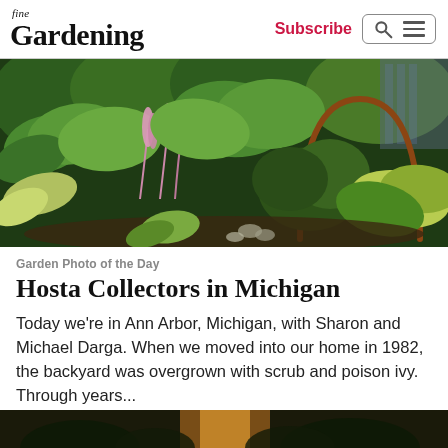fine Gardening | Subscribe
[Figure (photo): Lush garden with hostas, astilbe flowers, and various shade plants with a circular metal sculpture in the background]
Garden Photo of the Day
Hosta Collectors in Michigan
Today we're in Ann Arbor, Michigan, with Sharon and Michael Darga. When we moved into our home in 1982, the backyard was overgrown with scrub and poison ivy. Through years...
[Figure (photo): Bottom partial photo strip showing a dark garden scene]